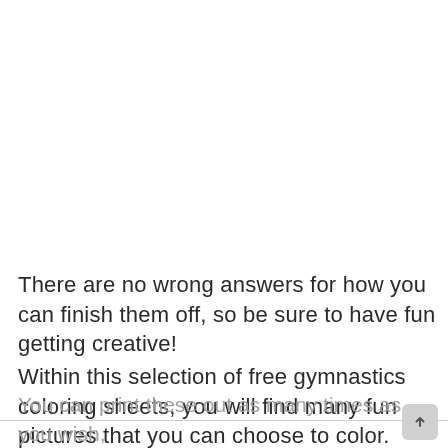There are no wrong answers for how you can finish them off, so be sure to have fun getting creative!
Within this selection of free gymnastics coloring sheets, you will find many fun pictures that you can choose to color.
You can print these out as many times as you wish,